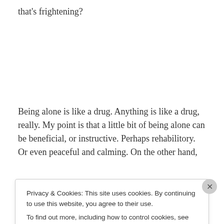that's frightening?
Being alone is like a drug. Anything is like a drug, really. My point is that a little bit of being alone can be beneficial, or instructive. Perhaps rehabilitory. Or even peaceful and calming. On the other hand,
Privacy & Cookies: This site uses cookies. By continuing to use this website, you agree to their use.
To find out more, including how to control cookies, see here: Cookie Policy
Close and accept